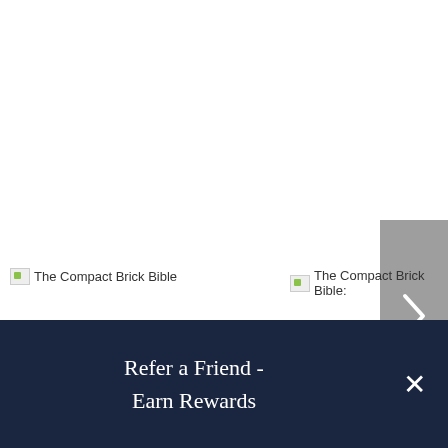[Figure (screenshot): Navigation carousel with a right-arrow button on a grey background on the right side]
[Figure (screenshot): Broken image placeholder labeled 'The Compact Brick Bible']
[Figure (screenshot): Broken image placeholder labeled 'The Compact Brick Bible:']
More to Explore
Refer a Friend - Earn Rewards